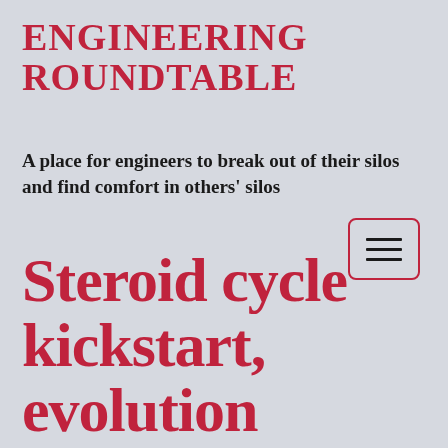ENGINEERING ROUNDTABLE
A place for engineers to break out of their silos and find comfort in others' silos
[Figure (other): Hamburger menu button icon with three horizontal lines, enclosed in a rounded rectangle border in red]
Steroid cycle kickstart, evolution